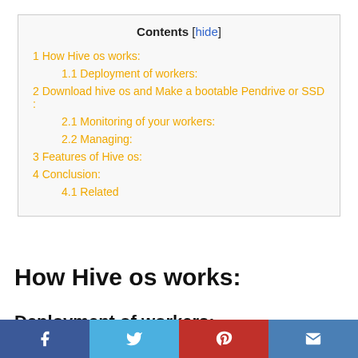| Contents [hide] |
| 1 How Hive os works: |
| 1.1 Deployment of workers: |
| 2 Download hive os and Make a bootable Pendrive or SSD : |
| 2.1 Monitoring of your workers: |
| 2.2 Managing: |
| 3 Features of Hive os: |
| 4 Conclusion: |
| 4.1 Related |
How Hive os works:
Deployment of workers:
[Figure (infographic): Social media sharing bar with Facebook, Twitter, Pinterest, and email icons]